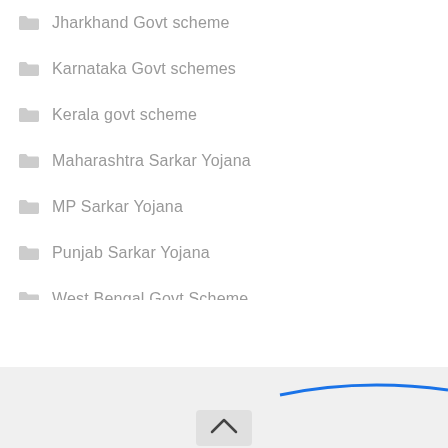Jharkhand Govt scheme
Karnataka Govt schemes
Kerala govt scheme
Maharashtra Sarkar Yojana
MP Sarkar Yojana
Punjab Sarkar Yojana
West Bengal Govt Scheme
[Figure (illustration): Blue curved line decorative element at bottom of page with gray background area and a back-to-top chevron button]